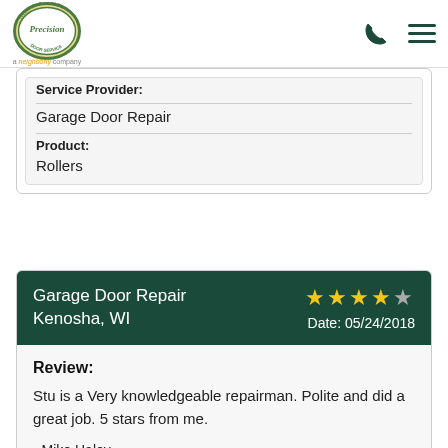[Figure (logo): Precision Overhead Garage Door Service logo — circular badge with green and gold, 'a neighborly company' text below]
Service Provider:
Garage Door Repair
Product:
Rollers
Garage Door Repair
Kenosha, WI
★★★★☆  Date: 05/24/2018
Review:
Stu is a Very knowledgeable repairman. Polite and did a great job. 5 stars from me.

- Mike Haley